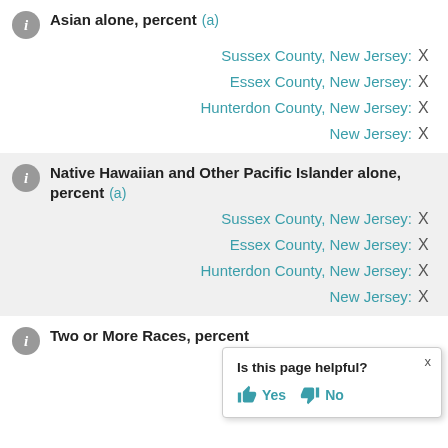Asian alone, percent (a)
Sussex County, New Jersey: X
Essex County, New Jersey: X
Hunterdon County, New Jersey: X
New Jersey: X
Native Hawaiian and Other Pacific Islander alone, percent (a)
Sussex County, New Jersey: X
Essex County, New Jersey: X
Hunterdon County, New Jersey: X
New Jersey: X
Two or More Races, percent
Sussex County, New Jersey:
Essex County, New Jersey:
[Figure (other): Popup dialog: 'Is this page helpful?' with Yes and No buttons and a close X]